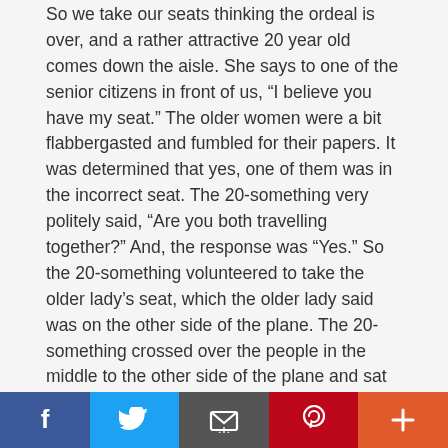So we take our seats thinking the ordeal is over, and a rather attractive 20 year old comes down the aisle. She says to one of the senior citizens in front of us, “I believe you have my seat.” The older women were a bit flabbergasted and fumbled for their papers. It was determined that yes, one of them was in the incorrect seat. The 20-something very politely said, “Are you both travelling together?” And, the response was “Yes.” So the 20-something volunteered to take the older lady’s seat, which the older lady said was on the other side of the plane. The 20-something crossed over the people in the middle to the other side of the plane and sat down (2-3-2 configuration).
A few minutes later another younger lady came down the far aisle and said to the “transplanted” 20-something, you are in my seat! The 20-something tried to explain to the
[Figure (other): Social sharing bar with Facebook, Twitter, Email, Pinterest, and More buttons]